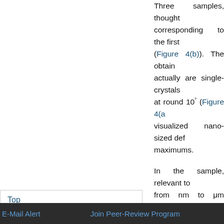Three samples, thought... corresponding to the first... (Figure 4(b)). The obtained... actually are single-crystals... at round 10° (Figure 4(a)... visualized nano-sized def... maximums.
In the sample, relevant to... from nm to μm separated... (indicate with arrow) refle... monocrystals are situated... exist (Figure 5(c) and Figu...
The sample from the thir... shows the SAEDI from [1...
It is seen that two satellite...
Top
ABSTRACT
Introduction
Material, Methods and Apparatus
Results and Discussion
Conclusions
E-Mail Alert    Join Peer-Review Program